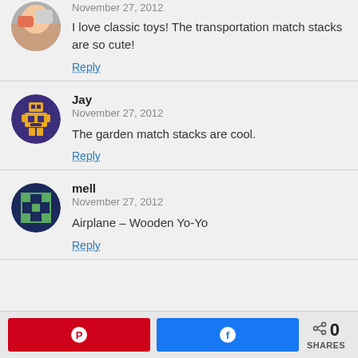[Figure (photo): Partial avatar photo of a person at top of page]
November 27, 2012
I love classic toys! The transportation match stacks are so cute!
Reply
[Figure (illustration): Jay's avatar: pixel-art style robot/figure in yellow and purple on dark purple circle]
Jay
November 27, 2012
The garden match stacks are cool.
Reply
[Figure (illustration): mell's avatar: pixel-art style grid/tile pattern in green on dark navy circle]
mell
November 27, 2012
Airplane – Wooden Yo-Yo
Reply